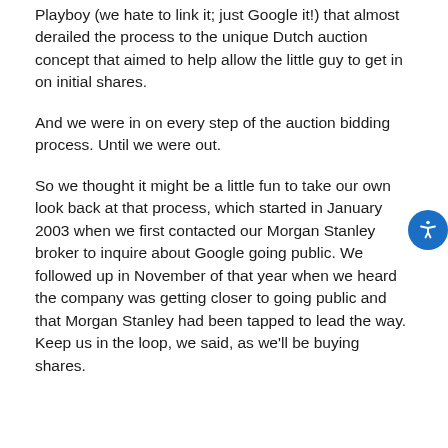Playboy (we hate to link it; just Google it!) that almost derailed the process to the unique Dutch auction concept that aimed to help allow the little guy to get in on initial shares.
And we were in on every step of the auction bidding process. Until we were out.
So we thought it might be a little fun to take our own look back at that process, which started in January 2003 when we first contacted our Morgan Stanley broker to inquire about Google going public. We followed up in November of that year when we heard the company was getting closer to going public and that Morgan Stanley had been tapped to lead the way. Keep us in the loop, we said, as we'll be buying shares.